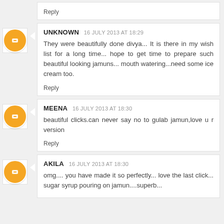Reply
UNKNOWN  16 JULY 2013 AT 18:29
They were beautifully done divya... It is there in my wish list for a long time... hope to get time to prepare such beautiful looking jamuns... mouth watering...need some ice cream too.
Reply
MEENA  16 JULY 2013 AT 18:30
beautiful clicks.can never say no to gulab jamun,love u r version
Reply
AKILA  16 JULY 2013 AT 18:30
omg.... you have made it so perfectly... love the last click... sugar syrup pouring on jamun....superb...